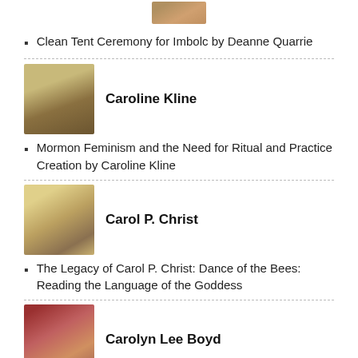[Figure (photo): Small cropped portrait photo at top of page]
Clean Tent Ceremony for Imbolc by Deanne Quarrie
[Figure (photo): Portrait photo of Caroline Kline]
Caroline Kline
Mormon Feminism and the Need for Ritual and Practice Creation by Caroline Kline
[Figure (photo): Portrait photo of Carol P. Christ]
Carol P. Christ
The Legacy of Carol P. Christ: Dance of the Bees: Reading the Language of the Goddess
[Figure (photo): Portrait photo of Carolyn Lee Boyd]
Carolyn Lee Boyd
We Are a Beautiful, Passionate, Inspiring, Never-Ending Story by Carolyn Lee Boyd
[Figure (photo): Portrait photo of Chris Ash]
Chris Ash
Privilege and Hierarchy in Community Care by